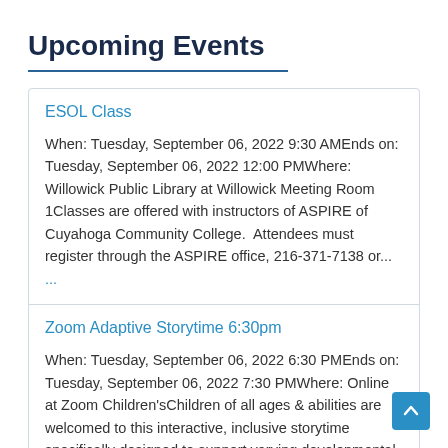Upcoming Events
ESOL Class
When: Tuesday, September 06, 2022 9:30 AMEnds on: Tuesday, September 06, 2022 12:00 PMWhere: Willowick Public Library at Willowick Meeting Room 1Classes are offered with instructors of ASPIRE of Cuyahoga Community College.  Attendees must register through the ASPIRE office, 216-371-7138 or... ...
Zoom Adaptive Storytime 6:30pm
When: Tuesday, September 06, 2022 6:30 PMEnds on: Tuesday, September 06, 2022 7:30 PMWhere: Online at Zoom Children'sChildren of all ages & abilities are welcomed to this interactive, inclusive storytime specifically designed to support varying developmental